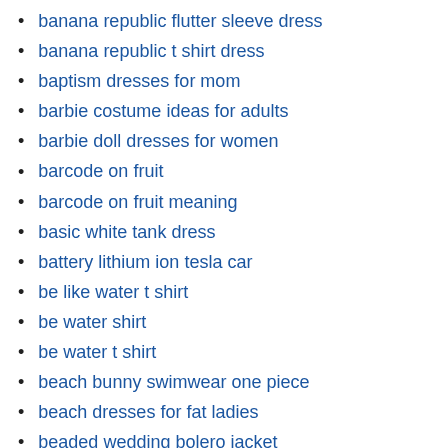banana republic flutter sleeve dress
banana republic t shirt dress
baptism dresses for mom
barbie costume ideas for adults
barbie doll dresses for women
barcode on fruit
barcode on fruit meaning
basic white tank dress
battery lithium ion tesla car
be like water t shirt
be water shirt
be water t shirt
beach bunny swimwear one piece
beach dresses for fat ladies
beaded wedding bolero jacket